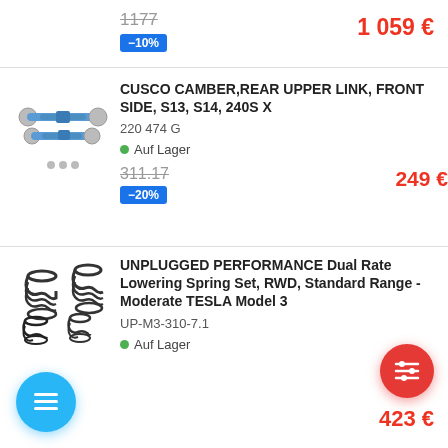1177 (strikethrough), -10%, 1 059 €
[Figure (photo): Blue adjustable camber links/rods product photo with dot navigation indicators]
CUSCO CAMBER,REAR UPPER LINK, FRONT SIDE, S13, S14, 240S X
220 474 G
Auf Lager
311.17 (strikethrough), -20%, 249 €
[Figure (photo): Black coil springs set product photo]
UNPLUGGED PERFORMANCE Dual Rate Lowering Spring Set, RWD, Standard Range - Moderate TESLA Model 3
UP-M3-310-7.1
Auf Lager
423 €